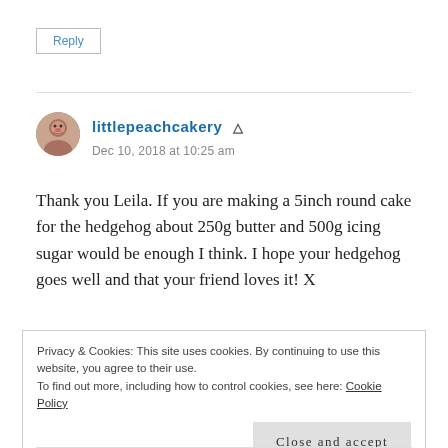Reply
littlepeachcakery
Dec 10, 2018 at 10:25 am
Thank you Leila. If you are making a 5inch round cake for the hedgehog about 250g butter and 500g icing sugar would be enough I think. I hope your hedgehog goes well and that your friend loves it! X
Privacy & Cookies: This site uses cookies. By continuing to use this website, you agree to their use.
To find out more, including how to control cookies, see here: Cookie Policy
Close and accept